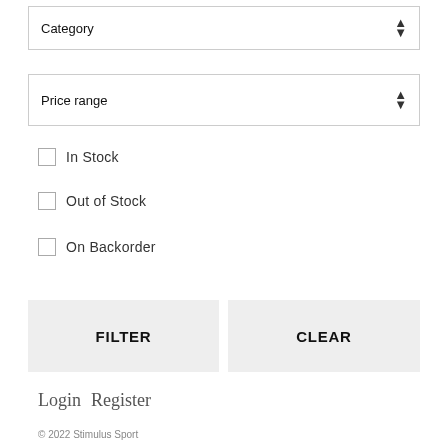Category
Price range
In Stock
Out of Stock
On Backorder
FILTER
CLEAR
Login  Register
© 2022 Stimulus Sport